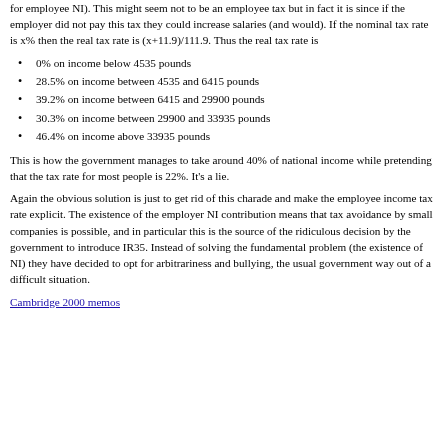for employee NI). This might seem not to be an employee tax but in fact it is since if the employer did not pay this tax they could increase salaries (and would). If the nominal tax rate is x% then the real tax rate is (x+11.9)/111.9. Thus the real tax rate is
0% on income below 4535 pounds
28.5% on income between 4535 and 6415 pounds
39.2% on income between 6415 and 29900 pounds
30.3% on income between 29900 and 33935 pounds
46.4% on income above 33935 pounds
This is how the government manages to take around 40% of national income while pretending that the tax rate for most people is 22%. It's a lie.
Again the obvious solution is just to get rid of this charade and make the employee income tax rate explicit. The existence of the employer NI contribution means that tax avoidance by small companies is possible, and in particular this is the source of the ridiculous decision by the government to introduce IR35. Instead of solving the fundamental problem (the existence of NI) they have decided to opt for arbitrariness and bullying, the usual government way out of a difficult situation.
Cambridge 2000 memos